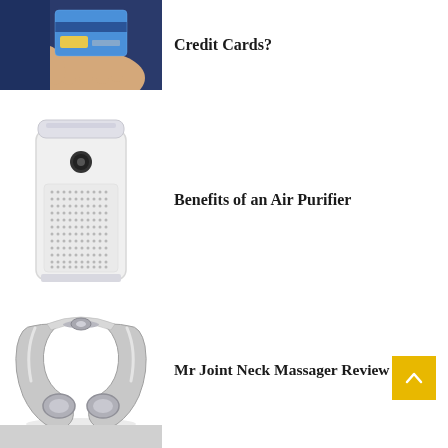[Figure (photo): Person holding a credit card, partially visible at top of page]
Credit Cards?
[Figure (photo): White air purifier appliance with dotted grille]
Benefits of an Air Purifier
[Figure (photo): Silver Mr Joint neck massager device, U-shaped with soft pads]
Mr Joint Neck Massager Review
[Figure (photo): Bottom partial image, light gray, partially visible]